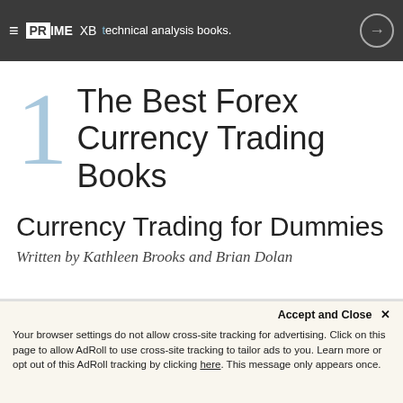sure to check out our other lists of the best books for day trading and the best technical analysis books.
1 The Best Forex Currency Trading Books
Currency Trading for Dummies
Written by Kathleen Brooks and Brian Dolan
Accept and Close ✕
Your browser settings do not allow cross-site tracking for advertising. Click on this page to allow AdRoll to use cross-site tracking to tailor ads to you. Learn more or opt out of this AdRoll tracking by clicking here. This message only appears once.